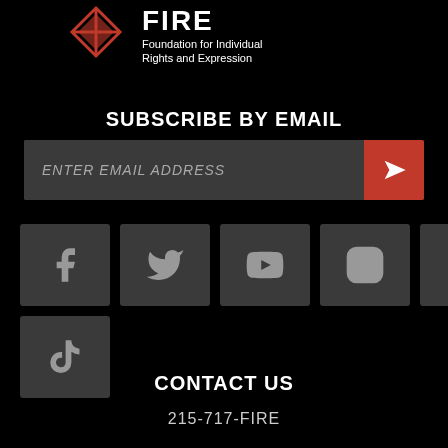[Figure (logo): FIRE - Foundation for Individual Rights and Expression logo with red diamond/arrow graphic]
SUBSCRIBE BY EMAIL
[Figure (infographic): Email subscription input bar with 'ENTER EMAIL ADDRESS' placeholder and red submit button with arrow icon]
[Figure (infographic): Social media icons row: Facebook, Twitter, YouTube, Instagram, LinkedIn, RSS, Snapchat, TikTok]
CONTACT US
215-717-FIRE